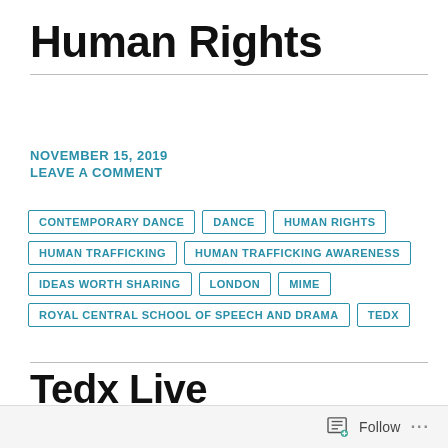Human Rights
NOVEMBER 15, 2019
LEAVE A COMMENT
CONTEMPORARY DANCE
DANCE
HUMAN RIGHTS
HUMAN TRAFFICKING
HUMAN TRAFFICKING AWARENESS
IDEAS WORTH SHARING
LONDON
MIME
ROYAL CENTRAL SCHOOL OF SPEECH AND DRAMA
TEDX
Tedx Live
Follow